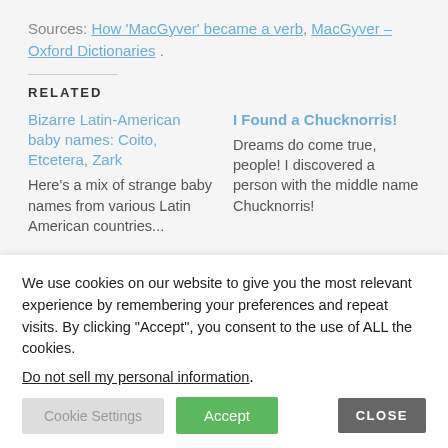Sources: How 'MacGyver' became a verb, MacGyver – Oxford Dictionaries .
RELATED
Bizarre Latin-American baby names: Coito, Etcetera, Zark
Here's a mix of strange baby names from various Latin American countries...
I Found a Chucknorris!
Dreams do come true, people! I discovered a person with the middle name Chucknorris!
We use cookies on our website to give you the most relevant experience by remembering your preferences and repeat visits. By clicking “Accept”, you consent to the use of ALL the cookies.
Do not sell my personal information.